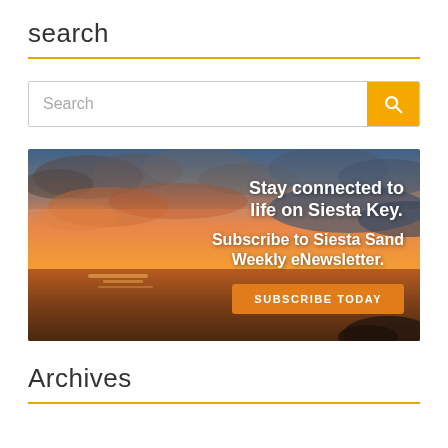search
[Figure (screenshot): Search bar with text input placeholder 'Search' and an orange search button with a magnifying glass icon]
[Figure (infographic): Advertisement banner with a sunset beach background. Text reads: 'Stay connected to life on Siesta Key. Subscribe to Siesta Sand Weekly eNewsletter.' with an orange 'SUBSCRIBE TODAY' button.]
Archives